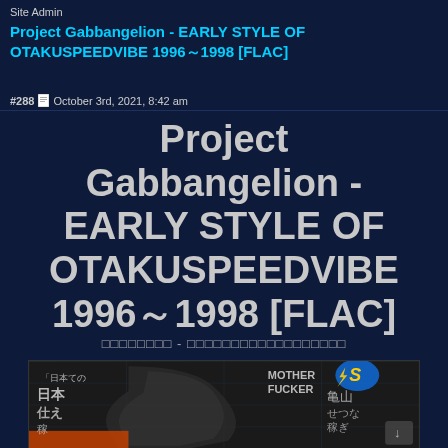Site Admin
Project Gabbangelion - EARLY STYLE OF OTAKUSPEEDVIBE 1996～1998 [FLAC]
#288  October 3rd, 2021, 8:42 am
Project Gabbangelion - EARLY STYLE OF OTAKUSPEEDVIBE 1996～1998 [FLAC]
□□□□□□□□ - □□□□□□□□□□□□□□□□□□
[Figure (photo): Album cover art for Project Gabbangelion - EARLY STYLE OF OTAKUSPEEDVIBE 1996-1998, showing Japanese text overlaid on a dark graphic with a cyan/teal large number or shape, text including MOTHER FUCKER with a yellow S lightning logo, and various Japanese kanji characters]